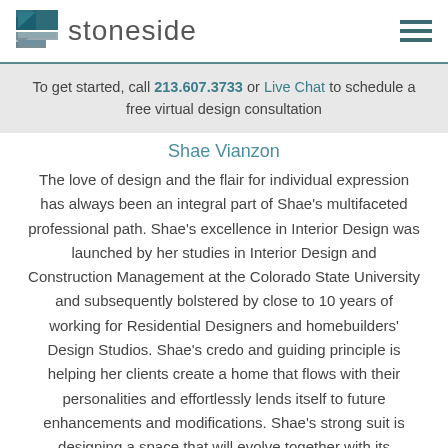stoneside
To get started, call 213.607.3733 or Live Chat to schedule a free virtual design consultation
Shae Vianzon
The love of design and the flair for individual expression has always been an integral part of Shae's multifaceted professional path. Shae's excellence in Interior Design was launched by her studies in Interior Design and Construction Management at the Colorado State University and subsequently bolstered by close to 10 years of working for Residential Designers and homebuilders' Design Studios. Shae's credo and guiding principle is helping her clients create a home that flows with their personalities and effortlessly lends itself to future enhancements and modifications. Shae's strong suit is designing a space that will evolve together with its inhabitants, enfolding them comfortably throughout. When Shae isn't helping her clients transform their